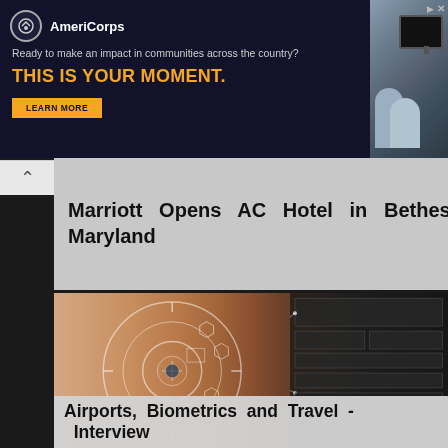[Figure (infographic): AmeriCorps advertisement banner with dark blue background, logo, text 'Ready to make an impact in communities across the country?', headline 'THIS IS YOUR MOMENT.' in orange, a LEARN MORE button, and a photo of people at computers on the right side.]
Marriott Opens AC Hotel in Bethesda, Maryland
[Figure (photo): Close-up photo of a woman's eye with biometric scanning overlay graphics — circular targeting reticles, hexagonal shapes, and data readout panels on the right side suggesting facial/iris recognition technology.]
Airports, Biometrics and Travel - Interview